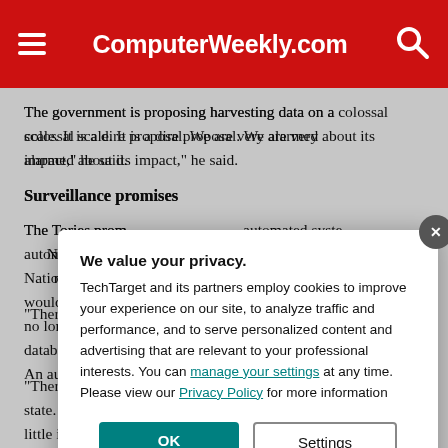ComputerWeekly.com
The government is proposing harvesting data on a colossal scale. It is a dire proposal. We are very alarmed about its impact," he said.
Surveillance promises
The Tories promised to abolish the automated system for storing National ID Register data, which would be scrapped so that data would no longer be retained on the database indefinitely.
"There is an overly powerful state. It encroaches on rights and offers little in return," G...
An automated sy...
We value your privacy.
TechTarget and its partners employ cookies to improve your experience on our site, to analyze traffic and performance, and to serve personalized content and advertising that are relevant to your professional interests. You can manage your settings at any time. Please view our Privacy Policy for more information